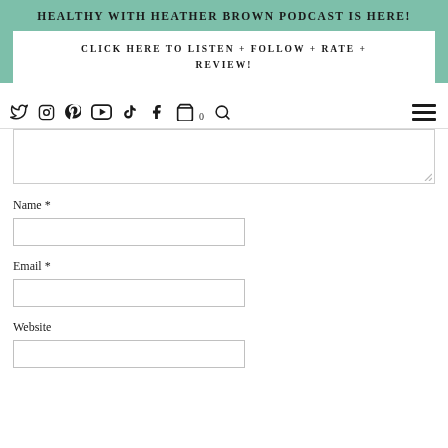HEALTHY WITH HEATHER BROWN PODCAST IS HERE!
CLICK HERE TO LISTEN + FOLLOW + RATE + REVIEW!
[Figure (other): Navigation bar with social media icons: Twitter, Instagram, Pinterest, YouTube, TikTok, Facebook, Cart (0), Search, and hamburger menu]
Name *
Email *
Website